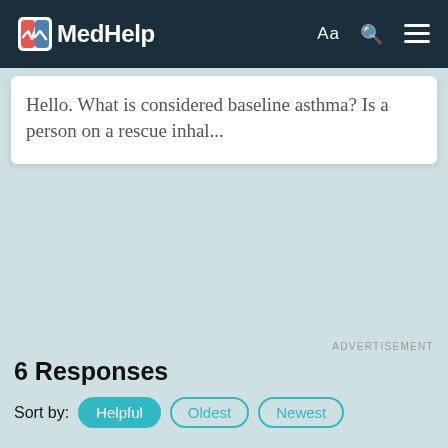MedHelp
Hello. What is considered baseline asthma? Is a person on a rescue inhal...
ADVERTISEMENT
6 Responses
Sort by: Helpful  Oldest  Newest